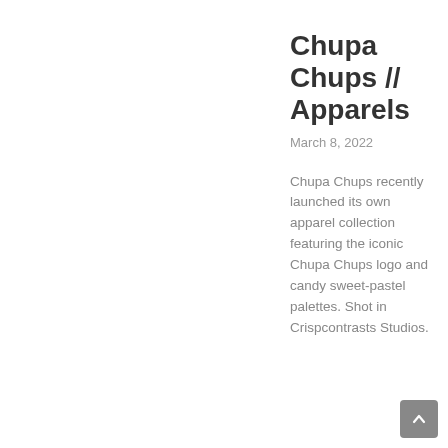Chupa Chups // Apparels
March 8, 2022
Chupa Chups recently launched its own apparel collection featuring the iconic Chupa Chups logo and candy sweet-pastel palettes. Shot in Crispcontrasts Studios.